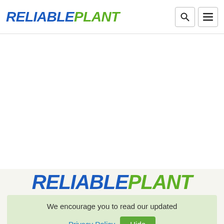RELIABLEPLANT
[Figure (logo): ReliablePlant logo with search and menu icons in header]
[Figure (logo): ReliablePlant large logo in footer section]
We encourage you to read our updated Privacy Policy  Hide